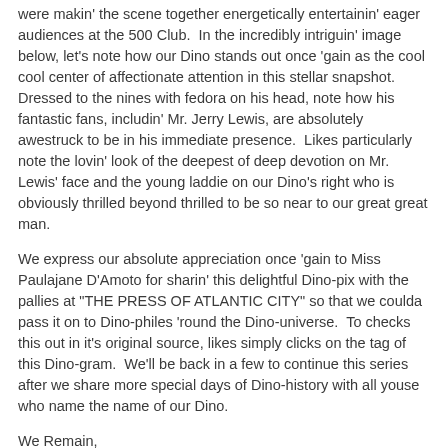were makin' the scene together energetically entertainin' eager audiences at the 500 Club.  In the incredibly intriguin' image below, let's note how our Dino stands out once 'gain as the cool cool center of affectionate attention in this stellar snapshot.  Dressed to the nines with fedora on his head, note how his fantastic fans, includin' Mr. Jerry Lewis, are absolutely awestruck to be in his immediate presence.  Likes particularly note the lovin' look of the deepest of deep devotion on Mr. Lewis' face and the young laddie on our Dino's right who is obviously thrilled beyond thrilled to be so near to our great great man.
We express our absolute appreciation once 'gain to Miss Paulajane D'Amoto for sharin' this delightful Dino-pix with the pallies at "THE PRESS OF ATLANTIC CITY" so that we coulda pass it on to Dino-philes 'round the Dino-universe.  To checks this out in it's original source, likes simply clicks on the tag of this Dino-gram.  We'll be back in a few to continue this series after we share more special days of Dino-history with all youse who name the name of our Dino.
We Remain,